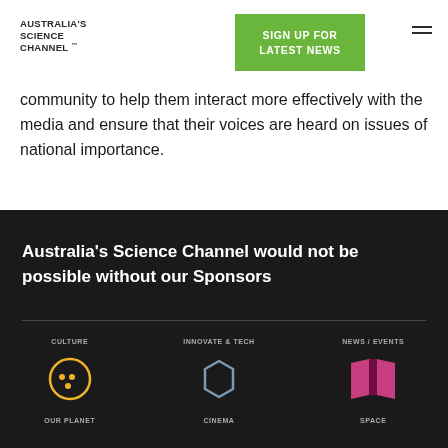[Figure (logo): Australia's Science Channel logo — bold uppercase text]
[Figure (other): Green 'SIGN UP FOR LATEST NEWS' button]
[Figure (other): Hamburger menu icon (three horizontal lines)]
community to help them interact more effectively with the media and ensure that their voices are heard on issues of national importance.
Australia's Science Channel would not be possible without our Sponsors
[Figure (illustration): Three category icons: CULTURE (yellow circle with dots), INNOVATE & TECH (grey hexagon outline), NEWS / EVENTS (pink open book/map icon). Below them partial text: OUR PLANET, SCIENCE, SPACE]